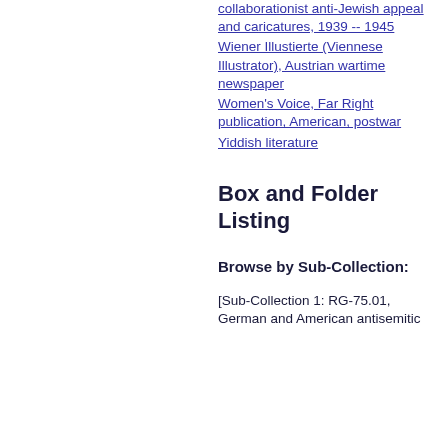collaborationist anti-Jewish appeal and caricatures, 1939 -- 1945
Wiener Illustierte (Viennese Illustrator), Austrian wartime newspaper
Women's Voice, Far Right publication, American, postwar
Yiddish literature
Box and Folder Listing
Browse by Sub-Collection:
[Sub-Collection 1: RG-75.01, German and American antisemitic